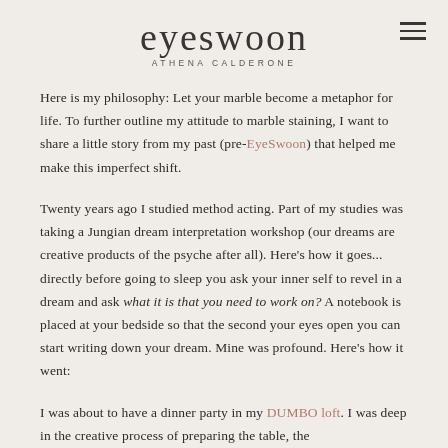eyeswoon ATHENA CALDERONE
Here is my philosophy: Let your marble become a metaphor for life. To further outline my attitude to marble staining, I want to share a little story from my past (pre-EyeSwoon) that helped me make this imperfect shift.
Twenty years ago I studied method acting. Part of my studies was taking a Jungian dream interpretation workshop (our dreams are creative products of the psyche after all). Here's how it goes... directly before going to sleep you ask your inner self to revel in a dream and ask what it is that you need to work on? A notebook is placed at your bedside so that the second your eyes open you can start writing down your dream. Mine was profound. Here's how it went:
I was about to have a dinner party in my DUMBO loft. I was deep in the creative process of preparing the table, the